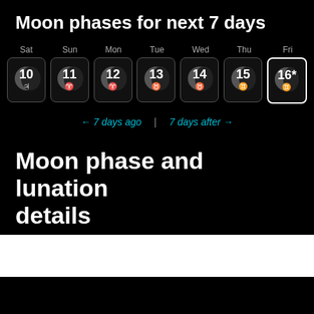Moon phases for next 7 days
[Figure (infographic): 7-day moon phase calendar showing Sat 10 through Fri 16, each day in a rounded rectangle box with a waning gibbous moon icon and astrological sign symbol. Day 16 (Friday) is highlighted with a white border. Navigation links: ← 7 days ago | 7 days after →]
Moon phase and lunation details